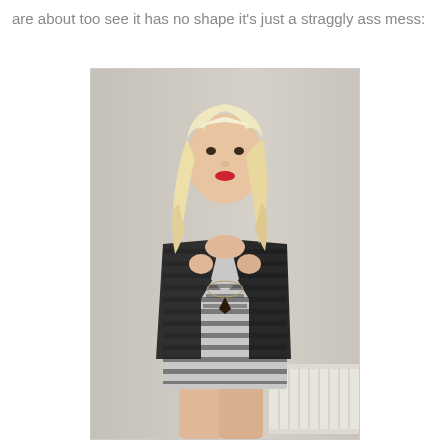are about too see it has no shape it's just a straggly ass mess:
[Figure (photo): A young woman with blonde hair wearing a black and white striped bodycon dress and a dark blazer/jacket, holding the lapels open. She is wearing a necklace and standing in front of a light-colored wall with a white radiator visible to the right.]